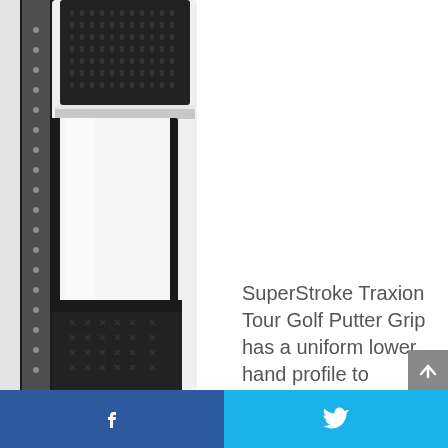[Figure (photo): Close-up photo of a SuperStroke Traxion Tour Golf Putter Grip showing the white central panel, black textured grip sections with cross-hatch pattern, and silver accents at the top.]
SuperStroke Traxion Tour Golf Putter Grip has a uniform lower hand profile to minimize